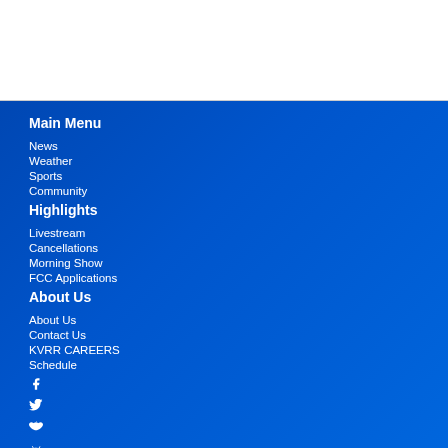Main Menu
News
Weather
Sports
Community
Highlights
Livestream
Cancellations
Morning Show
FCC Applications
About Us
About Us
Contact Us
KVRR CAREERS
Schedule